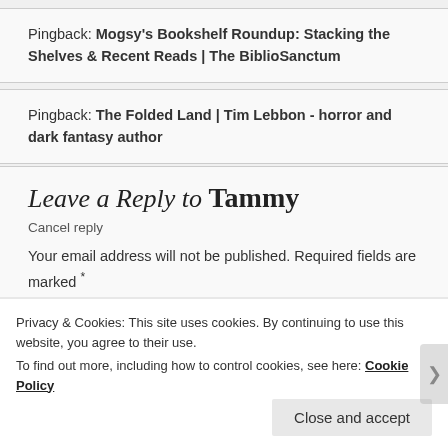Pingback: Mogsy's Bookshelf Roundup: Stacking the Shelves & Recent Reads | The BiblioSanctum
Pingback: The Folded Land | Tim Lebbon - horror and dark fantasy author
Leave a Reply to Tammy
Cancel reply
Your email address will not be published. Required fields are marked *
Privacy & Cookies: This site uses cookies. By continuing to use this website, you agree to their use.
To find out more, including how to control cookies, see here: Cookie Policy
Close and accept